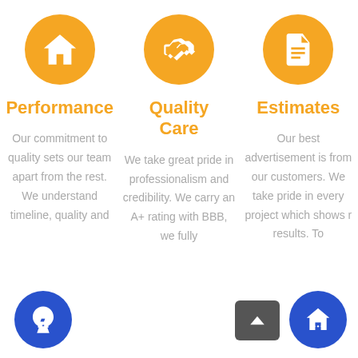[Figure (infographic): Three orange circular icons: a house, handshake, and document]
Performance
Quality Care
Estimates
Our commitment to quality sets our team apart from the rest. We understand timeline, quality and
We take great pride in professionalism and credibility. We carry an A+ rating with BBB, we fully
Our best advertisement is from our customers. We take pride in every project which shows r results. To